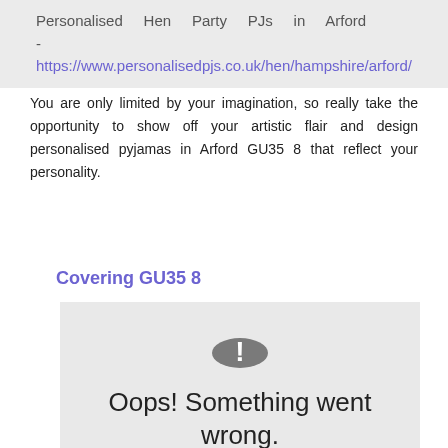Personalised Hen Party PJs in Arford - https://www.personalisedpjs.co.uk/hen/hampshire/arford/
You are only limited by your imagination, so really take the opportunity to show off your artistic flair and design personalised pyjamas in Arford GU35 8 that reflect your personality.
Covering GU35 8
[Figure (screenshot): Google Maps error widget showing a grey exclamation mark icon and the message 'Oops! Something went wrong. This page didn't load Google Maps correctly. See the JavaScript console for technical details.']